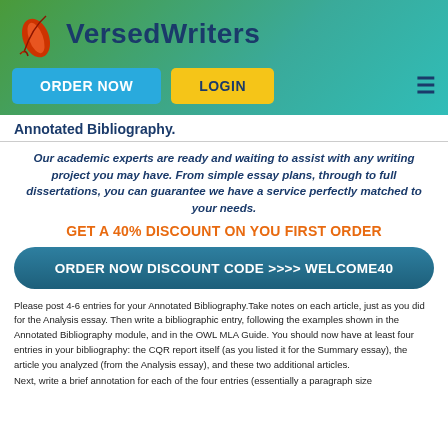[Figure (logo): VersedWriters logo with red feather quill and dark blue brand name text on green-to-teal gradient header]
ORDER NOW    LOGIN
Annotated Bibliography.
Our academic experts are ready and waiting to assist with any writing project you may have. From simple essay plans, through to full dissertations, you can guarantee we have a service perfectly matched to your needs.
GET A 40% DISCOUNT ON YOU FIRST ORDER
ORDER NOW DISCOUNT CODE >>>> WELCOME40
Please post 4-6 entries for your Annotated Bibliography.Take notes on each article, just as you did for the Analysis essay. Then write a bibliographic entry, following the examples shown in the Annotated Bibliography module, and in the OWL MLA Guide. You should now have at least four entries in your bibliography: the CQR report itself (as you listed it for the Summary essay), the article you analyzed (from the Analysis essay), and these two additional articles.
Next, write a brief annotation for each of the four entries (essentially a paragraph size